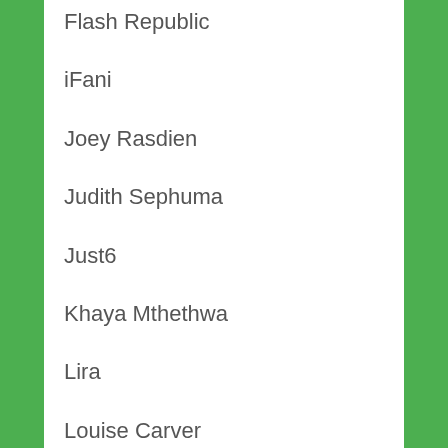Flash Republic
iFani
Joey Rasdien
Judith Sephuma
Just6
Khaya Mthethwa
Lira
Louise Carver
Mobius Loop